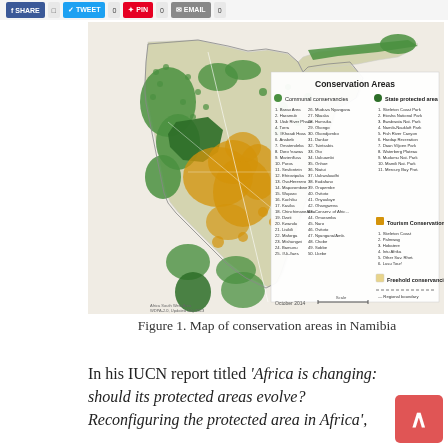[Figure (map): Map of conservation areas in Namibia showing communal conservancies (green), state protected areas (dark green), tourism conservation areas (orange/tan), and freehold conservancies (light yellow). Legend titled 'Conservation Areas' with numbered lists. Dated October 2014.]
Figure 1. Map of conservation areas in Namibia
In his IUCN report titled ‘Africa is changing: should its protected areas evolve? Reconfiguring the protected area in Africa’,